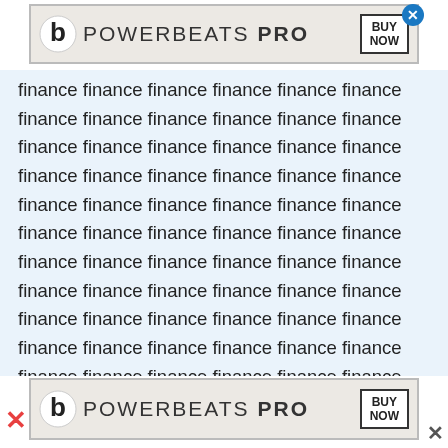[Figure (other): Beats Powerbeats Pro advertisement banner at top with beats logo, POWERBEATS PRO text, BUY NOW button, and close X button]
finance finance finance finance finance finance finance finance finance finance finance finance finance finance finance finance finance finance finance finance finance finance finance finance finance finance finance finance finance finance finance finance finance finance finance finance finance finance finance finance finance finance finance finance finance finance finance finance finance finance finance finance finance finance finance finance finance finance finance finance finance finance finance finance finance finance finance finance finance finance finance finance finance finance finance finance finance finance finance finance finance finance finance finance finance finance finance finance finance finance finance finance finance finance finance finance finance finance finance finance finance finance finance
[Figure (other): Beats Powerbeats Pro advertisement banner at bottom with beats logo, POWERBEATS PRO text, BUY NOW button]